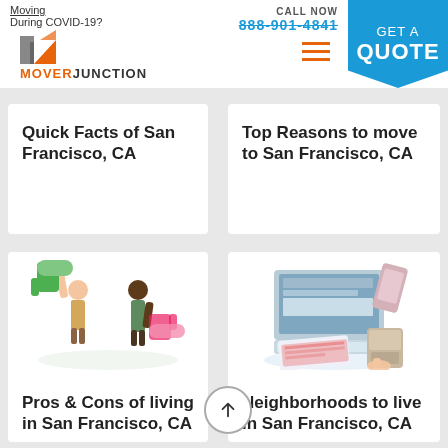Moving During COVID-19?
CALL NOW 888-901-4841
[Figure (logo): Mover Junction logo with orange arrow icon and text]
GET A QUOTE
Quick Facts of San Francisco, CA
Top Reasons to move to San Francisco, CA
[Figure (illustration): Two people holding thumbs up (green) and thumbs down (pink) signs]
Pros & Cons of living in San Francisco, CA
[Figure (illustration): Laptop, calendar, phone and payment terminal illustration]
Neighborhoods to live in San Francisco, CA